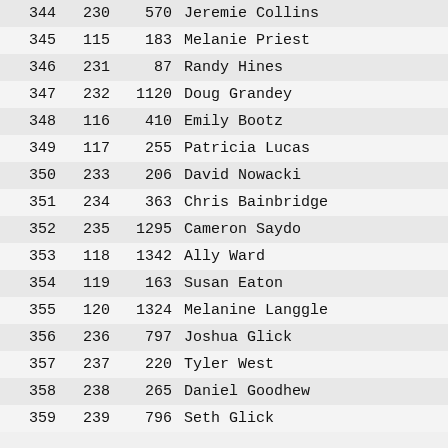| Rank | Sub | Bib | Name | Sex |
| --- | --- | --- | --- | --- |
| 344 | 230 | 570 | Jeremie Collins | M |
| 345 | 115 | 183 | Melanie Priest | F |
| 346 | 231 | 87 | Randy Hines | M |
| 347 | 232 | 1120 | Doug Grandey | M |
| 348 | 116 | 410 | Emily Bootz | F |
| 349 | 117 | 255 | Patricia Lucas | F |
| 350 | 233 | 206 | David Nowacki | M |
| 351 | 234 | 363 | Chris Bainbridge | M |
| 352 | 235 | 1295 | Cameron Saydo | M |
| 353 | 118 | 1342 | Ally Ward | F |
| 354 | 119 | 163 | Susan Eaton | F |
| 355 | 120 | 1324 | Melanine Langgle | F |
| 356 | 236 | 797 | Joshua Glick | M |
| 357 | 237 | 220 | Tyler West | M |
| 358 | 238 | 265 | Daniel Goodhew | M |
| 359 | 239 | 796 | Seth Glick | M |